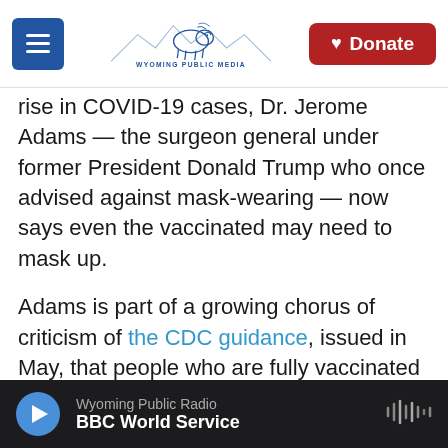Wyoming Public Media — Donate
rise in COVID-19 cases, Dr. Jerome Adams — the surgeon general under former President Donald Trump who once advised against mask-wearing — now says even the vaccinated may need to mask up.
Adams is part of a growing chorus of criticism of the CDC guidance, issued in May, that people who are fully vaccinated can resume activities indoors and outdoors without masks. The messaging, Adams told NPR's Morning Edition, "has just absolutely, unequivocally failed."
"More people than ever — vaccinated and
Wyoming Public Radio — BBC World Service